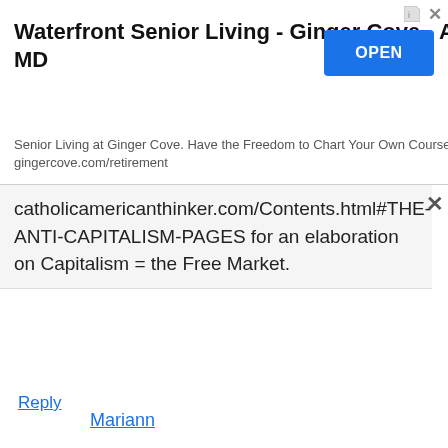[Figure (screenshot): Advertisement banner for Waterfront Senior Living - Ginger Cove - Annapolis, MD with an OPEN button]
catholicamericanthinker.com/Contents.html#THE-ANTI-CAPITALISM-PAGES for an elaboration on Capitalism = the Free Market.
Reply
Mariann
Thanks Vic! Illness has struck, again. You're a hero! God bless you.
Julian, read the links…quite excellent.